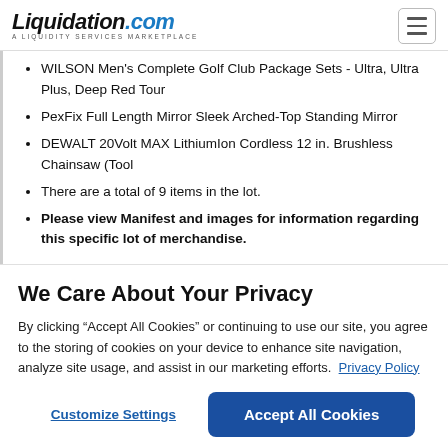Liquidation.com – A LIQUIDITY SERVICES MARKETPLACE
WILSON Men's Complete Golf Club Package Sets - Ultra, Ultra Plus, Deep Red Tour
PexFix Full Length Mirror Sleek Arched-Top Standing Mirror
DEWALT 20Volt MAX LithiumIon Cordless 12 in. Brushless Chainsaw (Tool
There are a total of 9 items in the lot.
Please view Manifest and images for information regarding this specific lot of merchandise.
We Care About Your Privacy
By clicking “Accept All Cookies” or continuing to use our site, you agree to the storing of cookies on your device to enhance site navigation, analyze site usage, and assist in our marketing efforts. Privacy Policy
Customize Settings
Accept All Cookies